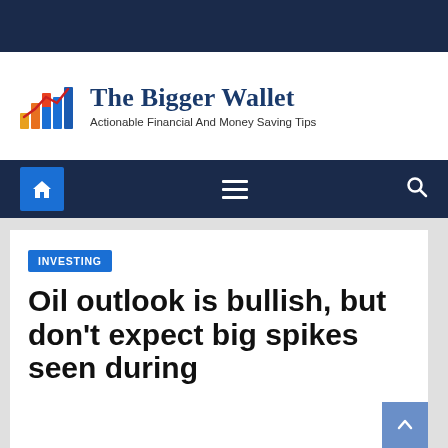The Bigger Wallet — Actionable Financial And Money Saving Tips
[Figure (logo): The Bigger Wallet website logo with bar chart icon and site name]
[Figure (screenshot): Navigation bar with home icon, hamburger menu, and search icon on dark navy background]
INVESTING
Oil outlook is bullish, but don't expect big spikes seen during